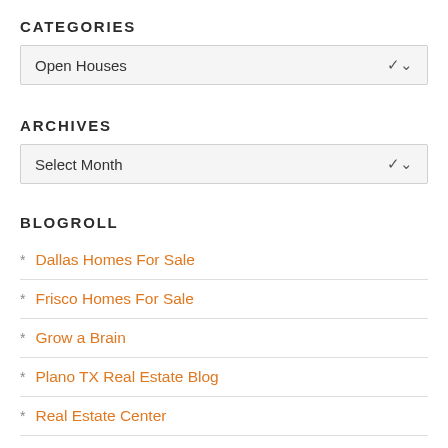CATEGORIES
Open Houses
ARCHIVES
Select Month
BLOGROLL
Dallas Homes For Sale
Frisco Homes For Sale
Grow a Brain
Plano TX Real Estate Blog
Real Estate Center
RealEstateTidBits
Tucson Real Estate